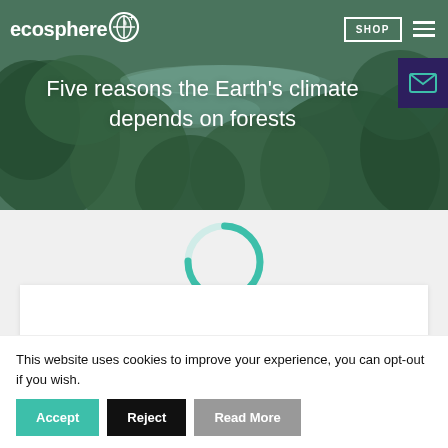[Figure (screenshot): Website header with forest background image showing aerial view of green trees and water, with ecosphere+ logo in top left, SHOP button and hamburger menu in top right, and a dark purple email icon box on the right side]
Five reasons the Earth's climate depends on forests
[Figure (other): Loading spinner - a circular ring in teal/mint green color indicating content is loading]
[Figure (other): White card/content area below the spinner, partially visible]
This website uses cookies to improve your experience, you can opt-out if you wish.
Accept
Reject
Read More